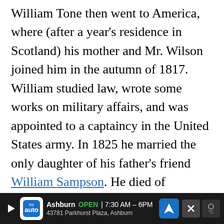William Tone then went to America, where (after a year's residence in Scotland) his mother and Mr. Wilson joined him in the autumn of 1817. William studied law, wrote some works on military affairs, and was appointed to a captaincy in the United States army. In 1825 he married the only daughter of his father's friend William Sampson. He died of consumption, 10th October 1828, and was buried on Long Island. His widow and daughter were living in New York in 1858.
Mrs. Wolfe Tone Wilson was intimate with Mrs. Fletcher, in whose charming Autobiography some of h...
[Figure (other): Advertisement bar at bottom: 'the auto' company, Ashburn OPEN 7:30AM-6PM, 43781 Parkhurst Plaza, Ashburn, with navigation and close buttons]